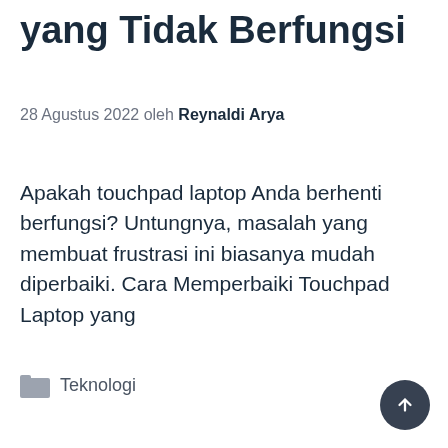yang Tidak Berfungsi
28 Agustus 2022 oleh Reynaldi Arya
Apakah touchpad laptop Anda berhenti berfungsi? Untungnya, masalah yang membuat frustrasi ini biasanya mudah diperbaiki. Cara Memperbaiki Touchpad Laptop yang
Teknologi